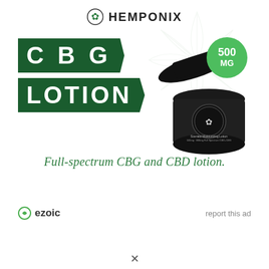[Figure (photo): Hemponix CBG Lotion advertisement showing a black jar of lotion with lid open, green banner labels reading CBG LOTION, 500MG green badge, decorative hemp leaf watermark, and the Hemponix logo at top]
Full-spectrum CBG and CBD lotion.
ezoic   report this ad